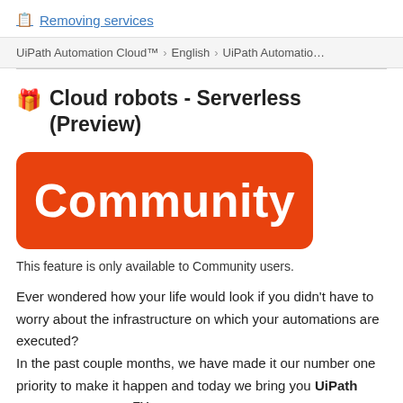📋 Removing services
UiPath Automation Cloud™ > English > UiPath Automatio…
🎁 Cloud robots - Serverless (Preview)
[Figure (other): Orange rounded rectangle badge with white bold text reading 'Community']
This feature is only available to Community users.
Ever wondered how your life would look if you didn't have to worry about the infrastructure on which your automations are executed?
In the past couple months, we have made it our number one priority to make it happen and today we bring you UiPath Automation Cloud™ robots…